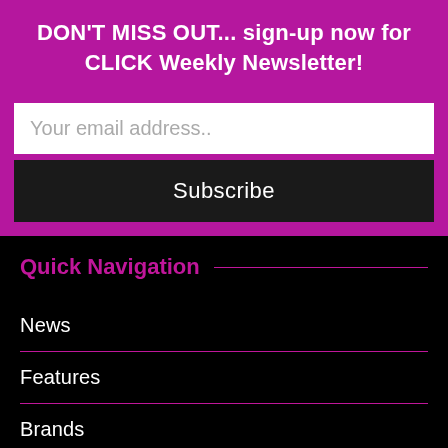DON'T MISS OUT... sign-up now for CLICK Weekly Newsletter!
Your email address..
Subscribe
Quick Navigation
News
Features
Brands
Store Profiles
Events